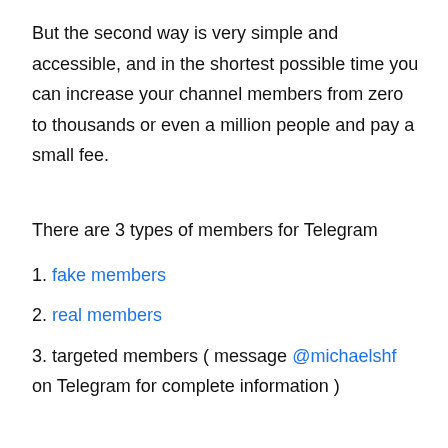But the second way is very simple and accessible, and in the shortest possible time you can increase your channel members from zero to thousands or even a million people and pay a small fee.
There are 3 types of members for Telegram
1. fake members
2. real members
3. targeted members ( message @michaelshf on Telegram for complete information )